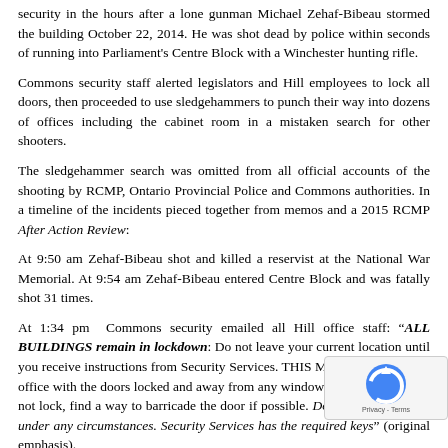security in the hours after a lone gunman Michael Zehaf-Bibeau stormed the building October 22, 2014. He was shot dead by police within seconds of running into Parliament's Centre Block with a Winchester hunting rifle.
Commons security staff alerted legislators and Hill employees to lock all doors, then proceeded to use sledgehammers to punch their way into dozens of offices including the cabinet room in a mistaken search for other shooters.
The sledgehammer search was omitted from all official accounts of the shooting by RCMP, Ontario Provincial Police and Commons authorities. In a timeline of the incidents pieced together from memos and a 2015 RCMP After Action Review:
At 9:50 am Zehaf-Bibeau shot and killed a reservist at the National War Memorial. At 9:54 am Zehaf-Bibeau entered Centre Block and was fatally shot 31 times.
At 1:34 pm Commons security emailed all Hill office staff: "ALL BUILDINGS remain in lockdown: Do not leave your current location until you receive instructions from Security Services. THIS MEANS stay in your office with the doors locked and away from any windows. If your door does not lock, find a way to barricade the door if possible. Do not open the door under any circumstances. Security Services has the required keys" (original emphasis).
At approximately 1:40 pm security staff began forcing open doors. S constables could not find keys for Parliament Hill offices and feared ot were loose in the building. Police at the time circulated unconfirme later proven false – that there were suspects on the Centre Block roof; an
[Figure (other): reCAPTCHA widget overlay in bottom right corner showing the reCAPTCHA logo (circular arrow icon) and Privacy - Terms text]